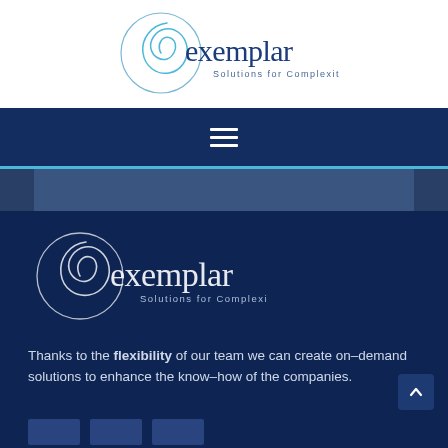[Figure (logo): Exemplar Solutions for Complexity logo on white background — circular spiral shell motif with 'exemplar' in blue text and 'Solutions for Complexity' subtitle]
[Figure (other): Navigation bar with hamburger menu icon (three horizontal lines) on dark navy background]
[Figure (logo): Exemplar Solutions for Complexity logo repeated on dark navy background with white/light styling]
Thanks to the flexibility of our team we can create on–demand solutions to enhance the know–how of the companies.